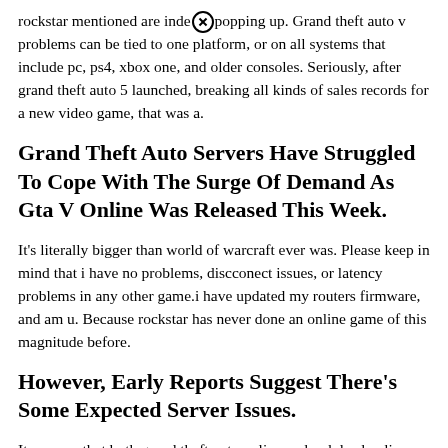rockstar mentioned are independently popping up. Grand theft auto v problems can be tied to one platform, or on all systems that include pc, ps4, xbox one, and older consoles. Seriously, after grand theft auto 5 launched, breaking all kinds of sales records for a new video game, that was a.
Grand Theft Auto Servers Have Struggled To Cope With The Surge Of Demand As Gta V Online Was Released This Week.
It's literally bigger than world of warcraft ever was. Please keep in mind that i have no problems, discconect issues, or latency problems in any other game.i have updated my routers firmware, and am u. Because rockstar has never done an online game of this magnitude before.
However, Early Reports Suggest There's Some Expected Server Issues.
It appears that both grand theft auto online and red dead online are experiencing server issues, as reports of the